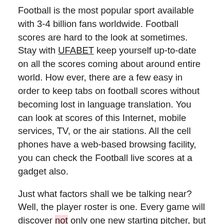Football is the most popular sport available with 3-4 billion fans worldwide. Football scores are hard to the look at sometimes. Stay with UFABET keep yourself up-to-date on all the scores coming about around entire world. How ever, there are a few easy in order to keep tabs on football scores without becoming lost in language translation. You can look at scores of this Internet, mobile services, TV, or the air stations. All the cell phones have a web-based browsing facility, you can check the Football live scores at a gadget also.
Just what factors shall we be talking near? Well, the player roster is one. Every game will discover not only one new starting pitcher, but a new relief staff as well. The pitchers can make all primary in a